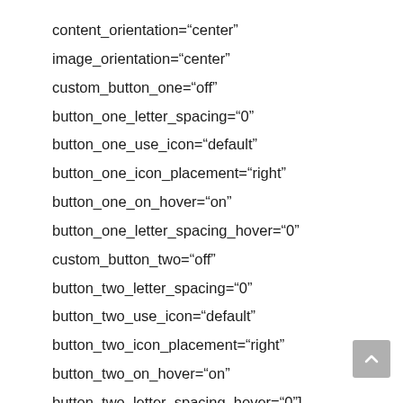content_orientation="center"
image_orientation="center"
custom_button_one="off"
button_one_letter_spacing="0"
button_one_use_icon="default"
button_one_icon_placement="right"
button_one_on_hover="on"
button_one_letter_spacing_hover="0"
custom_button_two="off"
button_two_letter_spacing="0"
button_two_use_icon="default"
button_two_icon_placement="right"
button_two_on_hover="on"
button_two_letter_spacing_hover="0"]